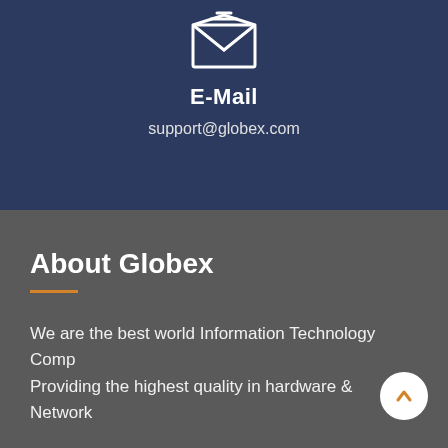[Figure (illustration): Envelope/email icon rendered in white outline on dark navy background]
E-Mail
support@globex.com
About Globex
We are the best world Information Technology Comp... Providing the highest quality in hardware & Network...